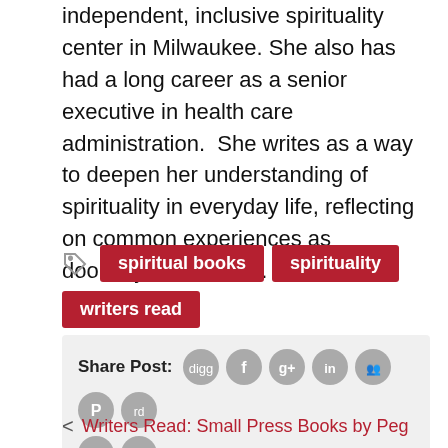independent, inclusive spirituality center in Milwaukee. She also has had a long career as a senior executive in health care administration.  She writes as a way to deepen her understanding of spirituality in everyday life, reflecting on common experiences as doorways to wisdom.
spiritual books
spirituality
writers read
Share Post:
Writers Read: Small Press Books by Peg